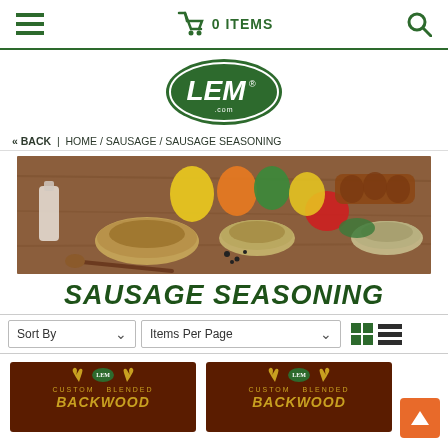≡  🛒 0 ITEMS  🔍
[Figure (logo): LEM brand logo — white LEM text in a dark green oval]
« BACK | HOME / SAUSAGE / SAUSAGE SEASONING
[Figure (photo): Wide banner photo of sausage seasoning spices, peppers, bowls of seasoning blends on a wooden table]
SAUSAGE SEASONING
Sort By  ˅   Items Per Page  ˅   [grid view] [list view]
[Figure (photo): Two Backwoods sausage seasoning product package thumbnails with dark brown background and gold antler logo]